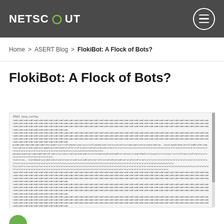NETSCOUT
Home > ASERT Blog > FlokiBot: A Flock of Bots?
FlokiBot: A Flock of Bots?
[Figure (screenshot): Screenshot of obfuscated binary/hex code block labeled [PK0] base_config, with a URL highlighted in red: https://extensions.klz7000.7xxClbgXboxSet7/QShFslTB7Kts_agents/gate.php]